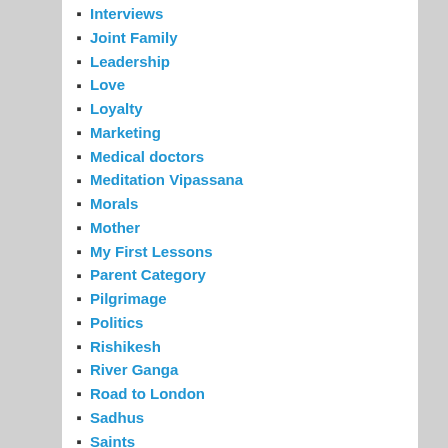Interviews
Joint Family
Leadership
Love
Loyalty
Marketing
Medical doctors
Meditation Vipassana
Morals
Mother
My First Lessons
Parent Category
Pilgrimage
Politics
Rishikesh
River Ganga
Road to London
Sadhus
Saints
Social Reforms
Sports – Cricket